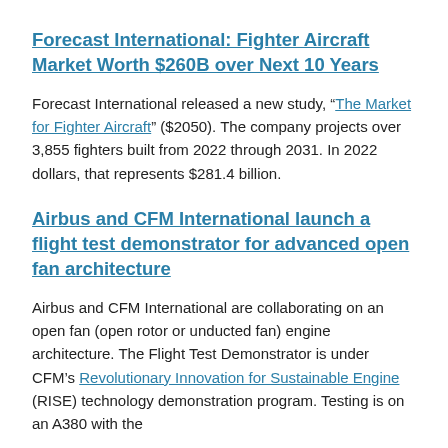Forecast International: Fighter Aircraft Market Worth $260B over Next 10 Years
Forecast International released a new study, “The Market for Fighter Aircraft” ($2050). The company projects over 3,855 fighters built from 2022 through 2031. In 2022 dollars, that represents $281.4 billion.
Airbus and CFM International launch a flight test demonstrator for advanced open fan architecture
Airbus and CFM International are collaborating on an open fan (open rotor or unducted fan) engine architecture. The Flight Test Demonstrator is under CFM’s Revolutionary Innovation for Sustainable Engine (RISE) technology demonstration program. Testing is on an A380 with the